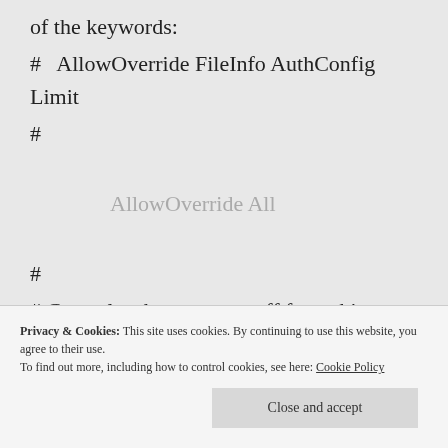of the keywords:
#   AllowOverride FileInfo AuthConfig Limit
#
AllowOverride All
#
# Controls who can get stuff from this server.
#
Privacy & Cookies: This site uses cookies. By continuing to use this website, you agree to their use.
To find out more, including how to control cookies, see here: Cookie Policy